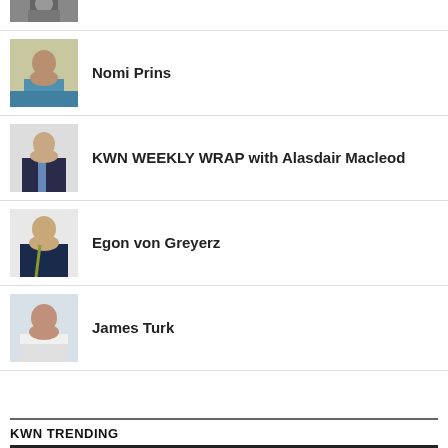[Figure (photo): Partial photo of a person at top of page, cropped]
Nomi Prins
[Figure (photo): Photo of Nomi Prins, dark-haired woman in teal top]
KWN WEEKLY WRAP with Alasdair Macleod
[Figure (photo): Photo of Alasdair Macleod, man in suit with striped tie]
Egon von Greyerz
[Figure (photo): Photo of Egon von Greyerz, older man in dark suit with arms crossed]
James Turk
[Figure (photo): Photo of James Turk, older man in white shirt]
KWN TRENDING